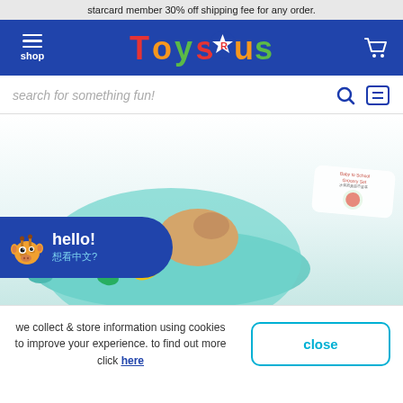starcard member 30% off shipping fee for any order.
[Figure (logo): Toys R Us logo with colored letters and star on blue navigation bar]
search for something fun!
[Figure (photo): Toy food play set items in a teal bowl. hello! 想看中文? chat bubble with giraffe mascot.]
we collect & store information using cookies to improve your experience. to find out more click here